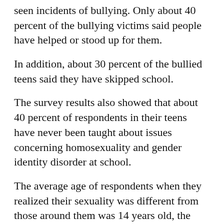seen incidents of bullying. Only about 40 percent of the bullying victims said people have helped or stood up for them.
In addition, about 30 percent of the bullied teens said they have skipped school.
The survey results also showed that about 40 percent of respondents in their teens have never been taught about issues concerning homosexuality and gender identity disorder at school.
The average age of respondents when they realized their sexuality was different from those around them was 14 years old, the survey showed.
“Through bullying, they are imprinted with the idea that they are ‘not ordinary’ and their self-esteem is hurt,” Hidaka said. “In addition to teaching about sexual diversity in schools, it is more important to teach students that